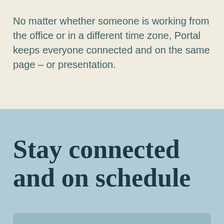No matter whether someone is working from the office or in a different time zone, Portal keeps everyone connected and on the same page – or presentation.
Stay connected and on schedule